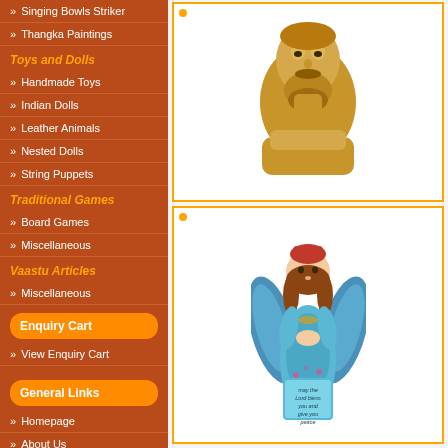» Singing Bowls Striker
» Thangka Paintings
Toys and Dolls
» Handmade Toys
» Indian Dolls
» Leather Animals
» Nested Dolls
» String Puppets
Traditional Games
» Board Games
» Miscellaneous
Vaastu Articles
» Miscellaneous
Enquiry Cart
» View Enquiry Cart
General Links
» Homepage
» About Us
» General Information
[Figure (photo): Golden bronze bust sculpture of a bearded man]
[Figure (photo): Colorful angel figurine in blue dress holding something, with text 'may the Lord bless you and give you peace']